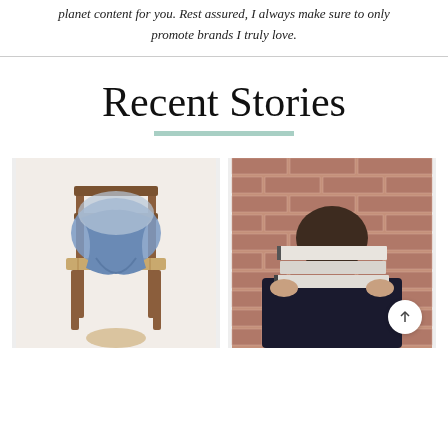planet content for you. Rest assured, I always make sure to only promote brands I truly love.
Recent Stories
[Figure (photo): Photo of a wooden chair with denim jeans and a pillow draped over it]
[Figure (photo): Photo of a person holding a stack of books in front of their face against a brick wall background]